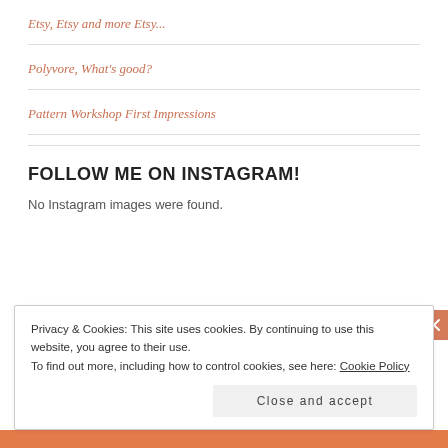Etsy, Etsy and more Etsy...
Polyvore, What's good?
Pattern Workshop First Impressions
FOLLOW ME ON INSTAGRAM!
No Instagram images were found.
Privacy & Cookies: This site uses cookies. By continuing to use this website, you agree to their use.
To find out more, including how to control cookies, see here: Cookie Policy
Close and accept